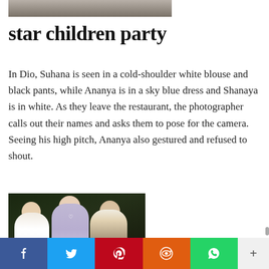[Figure (photo): Partial top image cropped at top of page]
star children party
In Dio, Suhana is seen in a cold-shoulder white blouse and black pants, while Ananya is in a sky blue dress and Shanaya is in white. As they leave the restaurant, the photographer calls out their names and asks them to pose for the camera. Seeing his high pitch, Ananya also gestured and refused to shout.
[Figure (photo): Three young women posing together outdoors at night. One in white, one in purple/lavender dress, one in white top with dark skirt.]
f  t  p  (reddit icon)  (whatsapp icon)  +